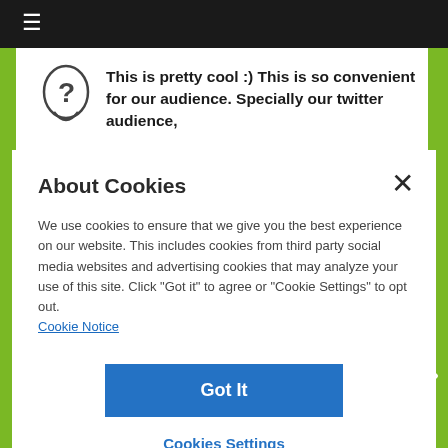≡
This is pretty cool :) This is so convenient for our audience. Specially our twitter audience,
About Cookies
We use cookies to ensure that we give you the best experience on our website. This includes cookies from third party social media websites and advertising cookies that may analyze your use of this site. Click "Got it" to agree or "Cookie Settings" to opt out.
Cookie Notice
Got It
Cookies Settings